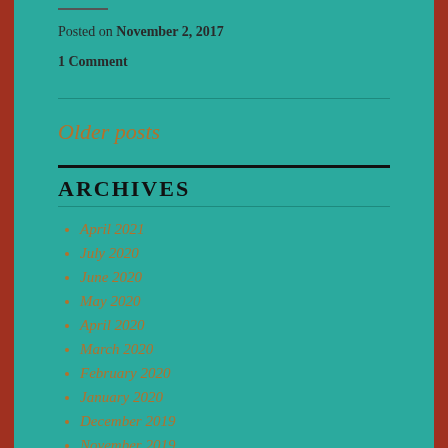Posted on November 2, 2017
1 Comment
Older posts
ARCHIVES
April 2021
July 2020
June 2020
May 2020
April 2020
March 2020
February 2020
January 2020
December 2019
November 2019
October 2019
September 2019
August 2019